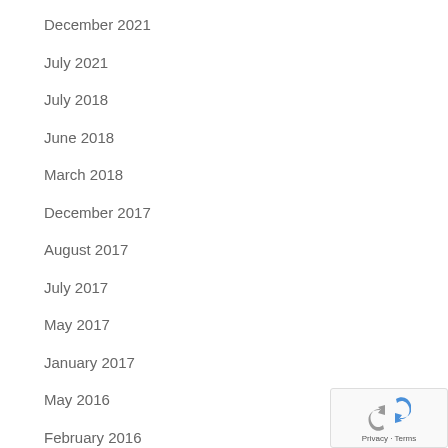December 2021
July 2021
July 2018
June 2018
March 2018
December 2017
August 2017
July 2017
May 2017
January 2017
May 2016
February 2016
January 2016
November 2015
October 2015
[Figure (logo): reCAPTCHA badge with privacy and terms text]